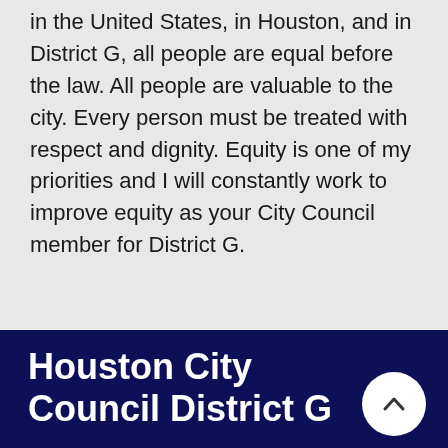in the United States, in Houston, and in District G, all people are equal before the law. All people are valuable to the city. Every person must be treated with respect and dignity. Equity is one of my priorities and I will constantly work to improve equity as your City Council member for District G.
Houston City Council District G
Role of City Council
Donate